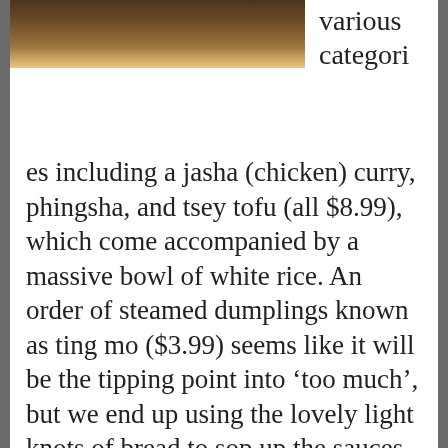[Figure (photo): Top portion of a bowl with dark broth/soup, photo cropped at top of page]
various categories including a jasha (chicken) curry, phingsha, and tsey tofu (all $8.99), which come accompanied by a massive bowl of white rice. An order of steamed dumplings known as ting mo ($3.99) seems like it will be the tipping point into ‘too much’, but we end up using the lovely light knots of bread to sop up the sauces in the bowls.
Since our guest is not a fan of super-spicy food, all of our choices are milder in flavour. Tibetan food is known to be laced with some killer hot sauce, a container of which is prominent on each table and is used